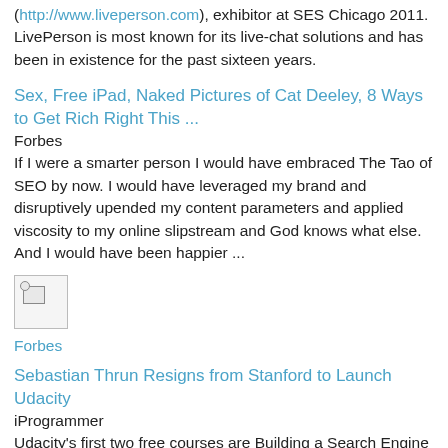(http://www.liveperson.com), exhibitor at SES Chicago 2011. LivePerson is most known for its live-chat solutions and has been in existence for the past sixteen years.
Sex, Free iPad, Naked Pictures of Cat Deeley, 8 Ways to Get Rich Right This ...
Forbes
If I were a smarter person I would have embraced The Tao of SEO by now. I would have leveraged my brand and disruptively upended my content parameters and applied viscosity to my online slipstream and God knows what else. And I would have been happier ...
[Figure (other): Broken/missing image placeholder icon]
Forbes
Sebastian Thrun Resigns from Stanford to Launch Udacity
iProgrammer
Udacity's first two free courses are Building a Search Engine and Programming a Robotic Car. Attendees at this year's DLD (Digital Life,Design) , Conference being held in Munich, Germany and livestreamed around the world, were probably